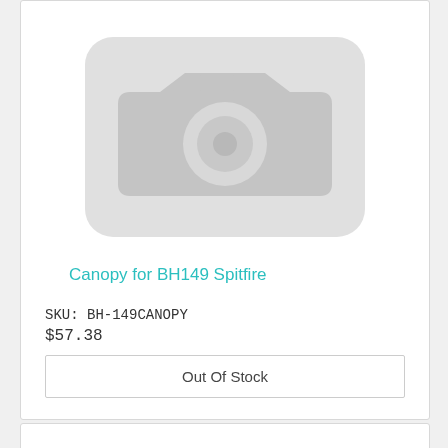[Figure (illustration): Gray placeholder image with camera icon — rounded rectangle background with camera silhouette and lens circle]
Canopy for BH149 Spitfire
SKU: BH-149CANOPY
$57.38
Out Of Stock
[Figure (other): Partial product card visible at bottom with a light blue strip]